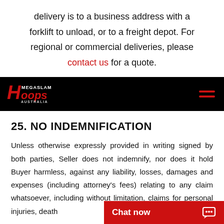delivery is to a business address with a forklift to unload, or to a freight depot. For regional or commercial deliveries, please contact us for a quote.
[Figure (logo): MegaSlam Hoops Australia logo on black navigation bar with hamburger menu icon]
25. NO INDEMNIFICATION
Unless otherwise expressly provided in writing signed by both parties, Seller does not indemnify, nor does it hold Buyer harmless, against any liability, losses, damages and expenses (including attorney's fees) relating to any claim whatsoever, including without limitation, claims for personal injuries, death